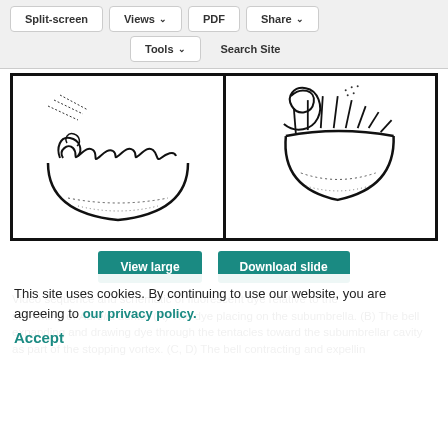Split-screen  Views  PDF  Share  Tools  Search Site
[Figure (illustration): Two scientific illustrations of jellyfish bell contracting. Left panel shows a top/side view of the bell with tentacles curled, with dotted lines indicating flow. Right panel shows the bell with upright tentacles and a spiral/curl at top, also with dotted flow lines indicating subumbrellar cavity.]
View large   Download slide
Video sequence and schematic of fluorescent dye relative to the swimming of Aurelia aurita. (A) The dye placing on the subumbrella. (B) The bell expanding and drawing dye through the tentacles toward the subumbrellar cavity as part of the stopping vortex. (C, D) The bell contracting and expelling